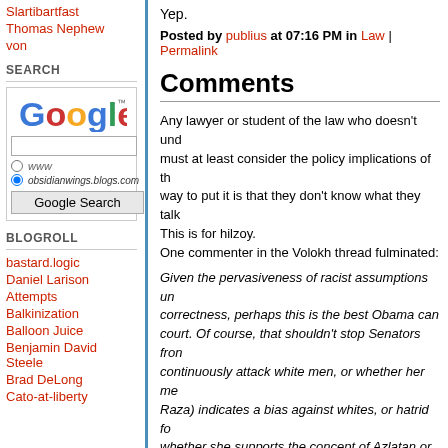Slartibartfast
Thomas Nephew
von
SEARCH
[Figure (other): Google search widget with logo, text input, www and obsidianwings.blogs.com radio buttons, and Google Search button]
BLOGROLL
bastard.logic
Daniel Larison
Attempts
Balkinization
Balloon Juice
Benjamin David Steele
Brad DeLong
Cato-at-liberty
Yep.
Posted by publius at 07:16 PM in Law | Permalink
Comments
Any lawyer or student of the law who doesn't und... must at least consider the policy implications of th... way to put it is that they don't know what they talk... This is for hilzoy. One commenter in the Volokh thread fulminated:
Given the pervasiveness of racist assumptions un... correctness, perhaps this is the best Obama can ... court. Of course, that shouldn't stop Senators fro... continuously attack white men, or whether her me... Raza) indicates a bias against whites, or hatrid fo... whether she supports the concept of Azlatan or o... favored The Race when she was a member (whic... away from).
to which another replied: